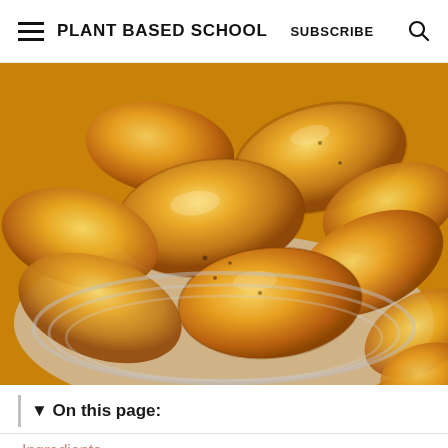PLANT BASED SCHOOL  SUBSCRIBE
[Figure (photo): Close-up photo of golden-brown toasted crostini bread slices piled on a white ridged plate, with a slightly blurred crostini piece visible at the bottom right outside the plate.]
▼ On this page:
Ingredients